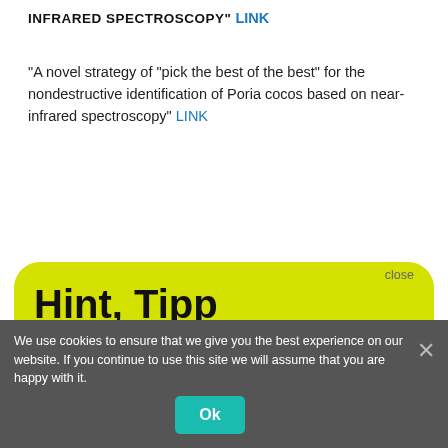“A novel strategy of “pick the best of the best” for the nondestructive identification of Poria cocos based on near-infrared spectroscopy” LINK
[Figure (screenshot): Yellow rounded hint/tooltip box with title 'Hint, Tipp', stating 'No registration and it’s free!' and 'There is a free NIR-Predictor Software.' with '> > > Show me < < <' link, and a close button.]
We use cookies to ensure that we give you the best experience on our website. If you continue to use this site we will assume that you are happy with it.
Spectrophotometers” LINK
“Machine Learning Calibra... Near TS Infrared Spectroscopy Data: A Visual kkS Programming...